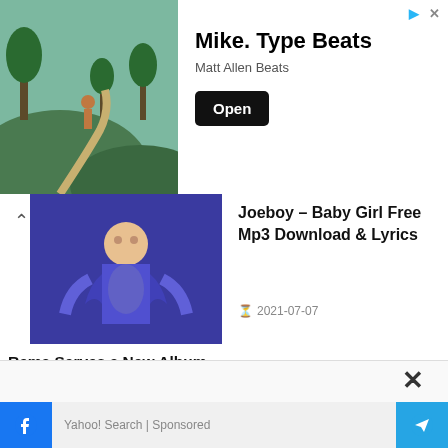[Figure (screenshot): Advertisement banner: Mike. Type Beats by Matt Allen Beats with Open button, showing outdoor landscape photo]
[Figure (photo): Thumbnail image of Joeboy music video - person in blue outfit]
Joeboy – Baby Girl Free Mp3 Download & Lyrics
2021-07-07
Rema Serves a New Album (Download Rema New Album 2021)
2021-01-04
[Figure (screenshot): Yahoo Search sponsored ad unit: Search for - 01. Affordable Glasses Online, 02. Cloud Storage Software System]
Yahoo! Search | Sponsored